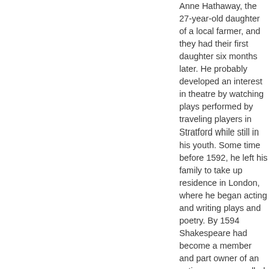Anne Hathaway, the 27-year-old daughter of a local farmer, and they had their first daughter six months later. He probably developed an interest in theatre by watching plays performed by traveling players in Stratford while still in his youth. Some time before 1592, he left his family to take up residence in London, where he began acting and writing plays and poetry. By 1594 Shakespeare had become a member and part owner of an acting company called The Lord Chamberlain's Men, where he soon became